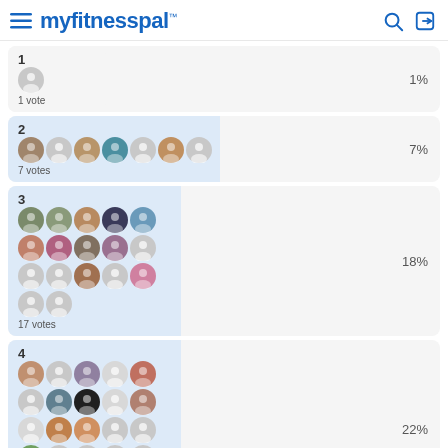myfitnesspal
1 — 1% — 1 vote
2 — 7% — 7 votes
3 — 18% — 17 votes
4 — 22% — 21 votes